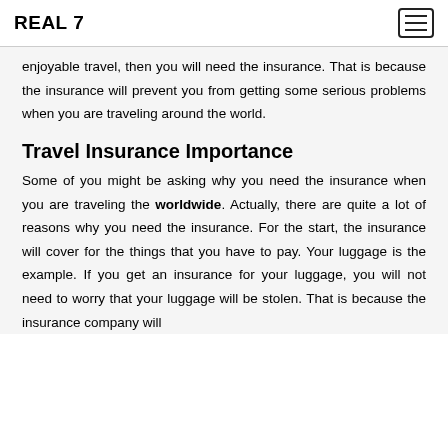REAL 7
enjoyable travel, then you will need the insurance. That is because the insurance will prevent you from getting some serious problems when you are traveling around the world.
Travel Insurance Importance
Some of you might be asking why you need the insurance when you are traveling the worldwide. Actually, there are quite a lot of reasons why you need the insurance. For the start, the insurance will cover for the things that you have to pay. Your luggage is the example. If you get an insurance for your luggage, you will not need to worry that your luggage will be stolen. That is because the insurance company will